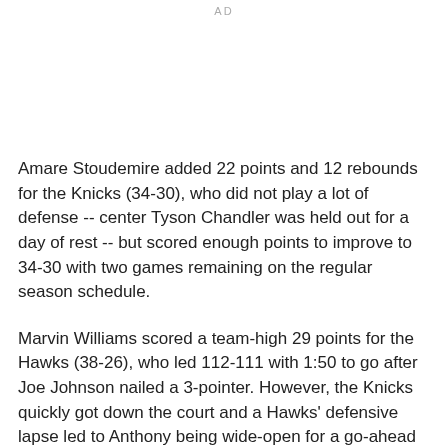AD
Amare Stoudemire added 22 points and 12 rebounds for the Knicks (34-30), who did not play a lot of defense -- center Tyson Chandler was held out for a day of rest -- but scored enough points to improve to 34-30 with two games remaining on the regular season schedule.
Marvin Williams scored a team-high 29 points for the Hawks (38-26), who led 112-111 with 1:50 to go after Joe Johnson nailed a 3-pointer. However, the Knicks quickly got down the court and a Hawks' defensive lapse led to Anthony being wide-open for a go-ahead jumper, which gave New York a 113-112 lead.